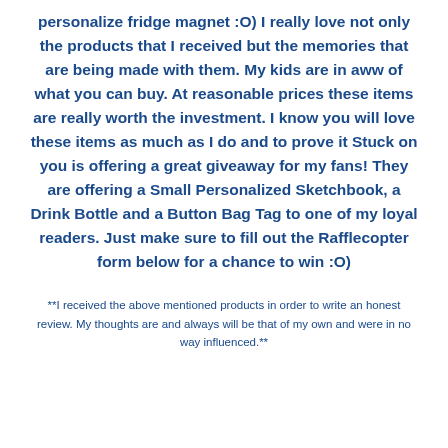personalize fridge magnet :O) I really love not only the products that I received but the memories that are being made with them. My kids are in aww of what you can buy. At reasonable prices these items are really worth the investment. I know you will love these items as much as I do and to prove it Stuck on you is offering a great giveaway for my fans! They are offering a Small Personalized Sketchbook, a Drink Bottle and a Button Bag Tag to one of my loyal readers. Just make sure to fill out the Rafflecopter form below for a chance to win :O)
**I received the above mentioned products in order to write an honest review. My thoughts are and always will be that of my own and were in no way influenced.**